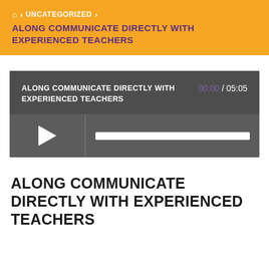🏠 > UNCATEGORIZED > ALONG COMMUNICATE DIRECTLY WITH EXPERIENCED TEACHERS
[Figure (screenshot): Audio/video player widget with dark gray background. Title 'ALONG COMMUNICATE DIRECTLY WITH EXPERIENCED TEACHERS' on left, time display '00:00 / 05:05' on right with current time in purple. Below: controls bar with play button (triangle) on left and white progress bar on right.]
ALONG COMMUNICATE DIRECTLY WITH EXPERIENCED TEACHERS